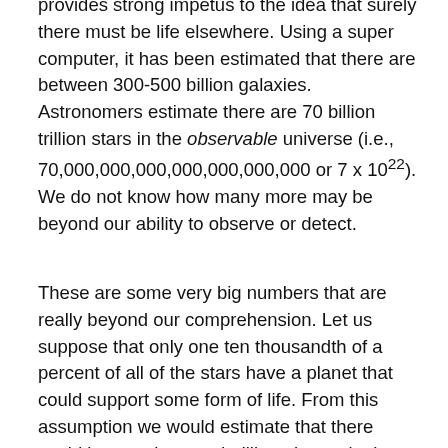provides strong impetus to the idea that surely there must be life elsewhere. Using a super computer, it has been estimated that there are between 300-500 billion galaxies. Astronomers estimate there are 70 billion trillion stars in the observable universe (i.e., 70,000,000,000,000,000,000,000 or 7 x 10^22). We do not know how many more may be beyond our ability to observe or detect.
These are some very big numbers that are really beyond our comprehension. Let us suppose that only one ten thousandth of a percent of all of the stars have a planet that could support some form of life. From this assumption we would estimate that there could be one thousand trillion planets in the universe (i.e., 7 followed by 16 zeros) that could support life.